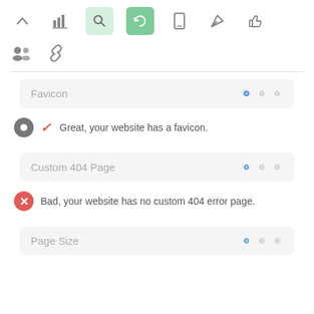[Figure (screenshot): Toolbar row 1 with navigation icons: up arrow, bar chart, search (light green background), refresh (green background), mobile, send, thumbs up]
[Figure (screenshot): Toolbar row 2 with group/users icon and chain link icon]
Favicon — settings icons
Great, your website has a favicon.
Custom 404 Page — settings icons
Bad, your website has no custom 404 error page.
Page Size — settings icons